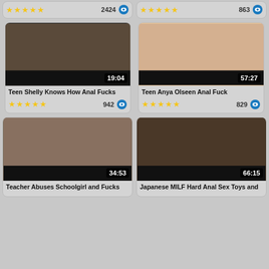[Figure (screenshot): Video thumbnail grid showing adult video website with 6 video cards. Top row shows partial cards with star ratings and view counts (2424 and 863). Middle row shows two video cards: 'Teen Shelly Knows How Anal Fucks' (19:04, 942 views) and 'Teen Anya Olseen Anal Fuck' (57:27, 829 views). Bottom row shows 'Teacher Abuses Schoolgirl and Fucks' (34:53) and 'Japanese MILF Hard Anal Sex Toys and' (66:15).]